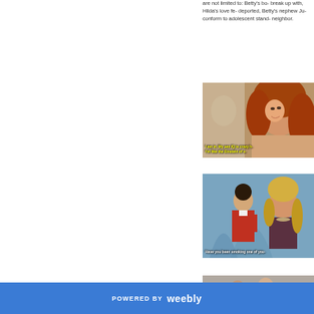are not limited to: Betty's bo- break up with, Hilda's love fe- deported, Betty's nephew Ju- conform to adolescent stand- neighbor.
[Figure (photo): Screenshot from Ugly Betty showing a woman with red/auburn hair smiling, with subtitle text: 'I am in. My sex IQ is crazy h- I'm like the Einstein of s-']
[Figure (photo): Screenshot from Ugly Betty showing a young man in a red sweater and a woman with blonde hair, with subtitle: 'Have you been smoking one of you-']
[Figure (photo): Screenshot from Ugly Betty showing people in a room, partially visible.]
POWERED BY weebly